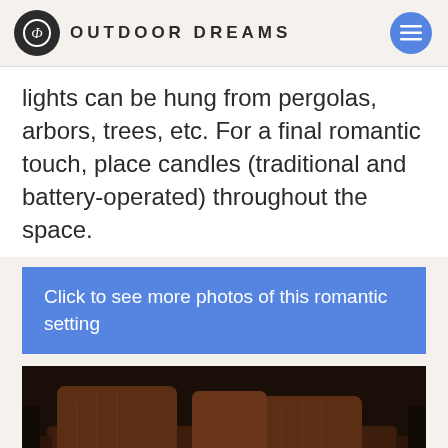OUTDOOR DREAMS
lights can be hung from pergolas, arbors, trees, etc. For a final romantic touch, place candles (traditional and battery-operated) throughout the space.
Click to see more photos of this romantic setting
[Figure (photo): Dark nighttime outdoor setting showing a cushioned sofa/couch with decorative pillows illuminated by warm orange firelight from below, creating a romantic ambiance]